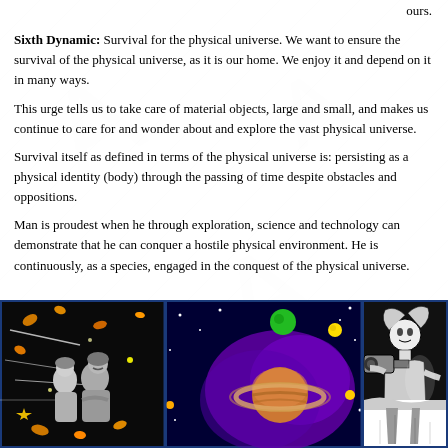ours.
Sixth Dynamic: Survival for the physical universe. We want to ensure the survival of the physical universe, as it is our home. We enjoy it and depend on it in many ways.
This urge tells us to take care of material objects, large and small, and makes us continue to care for and wonder about and explore the vast physical universe.
Survival itself as defined in terms of the physical universe is: persisting as a physical identity (body) through the passing of time despite obstacles and oppositions.
Man is proudest when he through exploration, science and technology can demonstrate that he can conquer a hostile physical environment. He is continuously, as a species, engaged in the conquest of the physical universe.
[Figure (illustration): Three-panel illustration: left panel shows two people in black and white with falling leaves on black background; center panel shows a planet (Saturn-like) and celestial bodies on dark blue/purple background; right panel shows a black and white illustration of a person looking through something.]